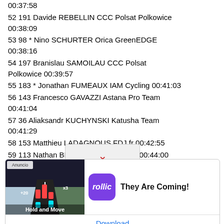00:37:58
52 191 Davide REBELLIN CCC Polsat Polkowice 00:38:09
53 98 * Nino SCHURTER Orica GreenEDGE 00:38:16
54 197 Branislau SAMOILAU CCC Polsat Polkowice 00:39:57
55 183 * Jonathan FUMEAUX IAM Cycling 00:41:03
56 143 Francesco GAVAZZI Astana Pro Team 00:41:04
57 36 Aliaksandr KUCHYNSKI Katusha Team 00:41:29
58 153 Matthieu LADAGNOUS FDJ.fr 00:42:55
59 113 Nathan BROWN Garmin-Sharp 00:44:00
60 177 Alexandre PICHOT Team Europcar 00:44:59
61 176 Maxime MEDEREL Team Europcar 00:45:29
Lawson CRADDOCK Team Giant-Shimano
[Figure (screenshot): Advertisement overlay showing a mobile game 'Hold and Move' by Rollic with tagline 'They Are Coming!' and a Download button]